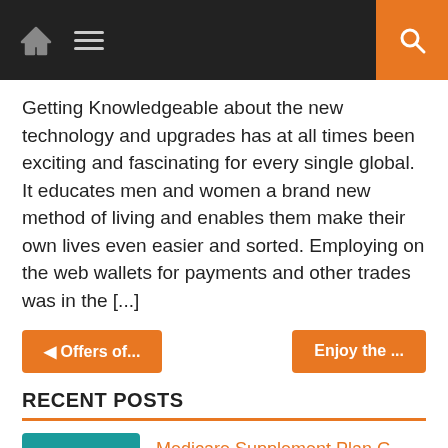Navigation bar with home, menu, and search icons
Getting Knowledgeable about the new technology and upgrades has at all times been exciting and fascinating for every single global. It educates men and women a brand new method of living and enables them make their own lives even easier and sorted. Employing on the web wallets for payments and other trades was in the [...]
◄ Offers of...
Enjoy the ...
RECENT POSTS
[Figure (illustration): Medical themed illustration with envelope, pills, and stethoscope on teal background]
Medicare Supplement Plan G- What Is The Coverage Under The Plan?
[Figure (screenshot): Dark screenshot thumbnail for Steps to choose the best live stream platforms]
Steps to choose the best live stream platforms